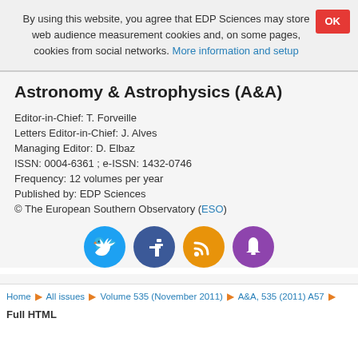By using this website, you agree that EDP Sciences may store web audience measurement cookies and, on some pages, cookies from social networks. More information and setup
Astronomy & Astrophysics (A&A)
Editor-in-Chief: T. Forveille
Letters Editor-in-Chief: J. Alves
Managing Editor: D. Elbaz
ISSN: 0004-6361 ; e-ISSN: 1432-0746
Frequency: 12 volumes per year
Published by: EDP Sciences
© The European Southern Observatory (ESO)
[Figure (infographic): Row of four social media icons: Twitter (blue), Facebook (dark blue), RSS (orange), Notifications/bell (purple)]
Home ▶ All issues ▶ Volume 535 (November 2011) ▶ A&A, 535 (2011) A57 ▶
Full HTML